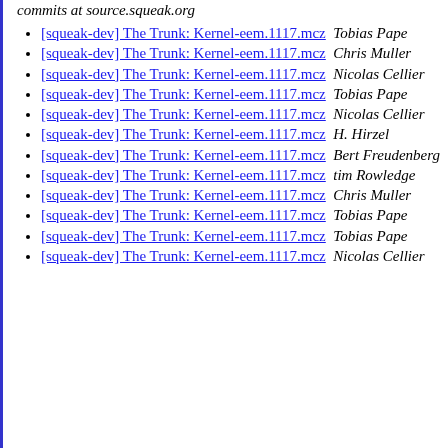commits at source.squeak.org
[squeak-dev] The Trunk: Kernel-eem.1117.mcz  Tobias Pape
[squeak-dev] The Trunk: Kernel-eem.1117.mcz  Chris Muller
[squeak-dev] The Trunk: Kernel-eem.1117.mcz  Nicolas Cellier
[squeak-dev] The Trunk: Kernel-eem.1117.mcz  Tobias Pape
[squeak-dev] The Trunk: Kernel-eem.1117.mcz  Nicolas Cellier
[squeak-dev] The Trunk: Kernel-eem.1117.mcz  H. Hirzel
[squeak-dev] The Trunk: Kernel-eem.1117.mcz  Bert Freudenberg
[squeak-dev] The Trunk: Kernel-eem.1117.mcz  tim Rowledge
[squeak-dev] The Trunk: Kernel-eem.1117.mcz  Chris Muller
[squeak-dev] The Trunk: Kernel-eem.1117.mcz  Tobias Pape
[squeak-dev] The Trunk: Kernel-eem.1117.mcz  Tobias Pape
[squeak-dev] The Trunk: Kernel-eem.1117.mcz  Nicolas Cellier